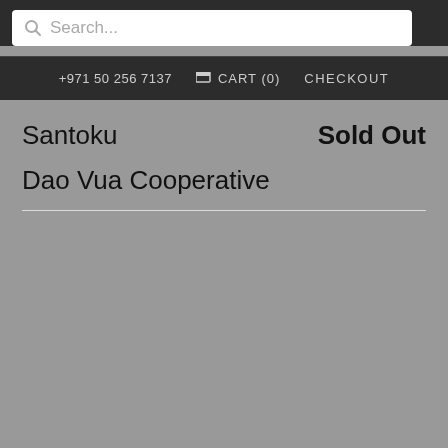Search...
+971 50 256 7137  CART (0)  CHECKOUT
Santoku
Sold Out
Dao Vua Cooperative